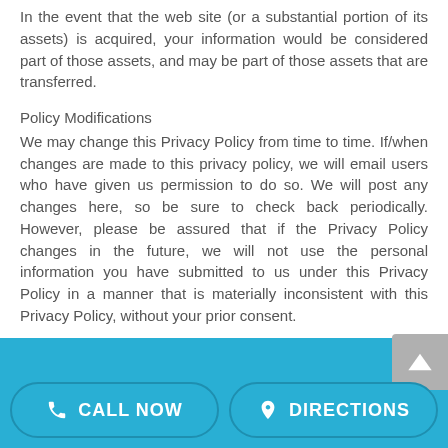In the event that the web site (or a substantial portion of its assets) is acquired, your information would be considered part of those assets, and may be part of those assets that are transferred.
Policy Modifications
We may change this Privacy Policy from time to time. If/when changes are made to this privacy policy, we will email users who have given us permission to do so. We will post any changes here, so be sure to check back periodically. However, please be assured that if the Privacy Policy changes in the future, we will not use the personal information you have submitted to us under this Privacy Policy in a manner that is materially inconsistent with this Privacy Policy, without your prior consent.
CALL NOW | DIRECTIONS